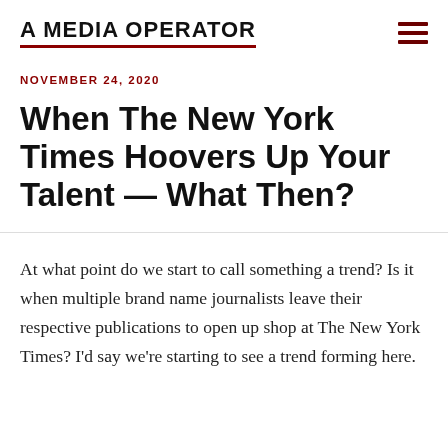A MEDIA OPERATOR
NOVEMBER 24, 2020
When The New York Times Hoovers Up Your Talent — What Then?
At what point do we start to call something a trend? Is it when multiple brand name journalists leave their respective publications to open up shop at The New York Times? I'd say we're starting to see a trend forming here.